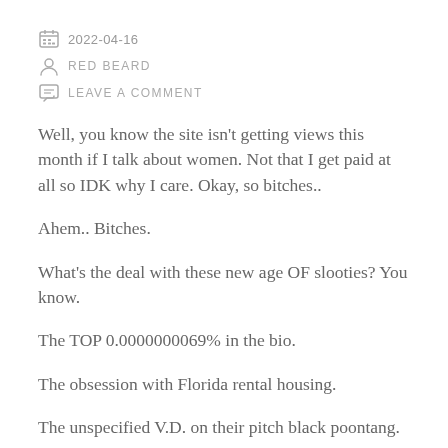2022-04-16
RED BEARD
LEAVE A COMMENT
Well, you know the site isn't getting views this month if I talk about women. Not that I get paid at all so IDK why I care. Okay, so bitches..
Ahem.. Bitches.
What's the deal with these new age OF slooties? You know.
The TOP 0.0000000069% in the bio.
The obsession with Florida rental housing.
The unspecified V.D. on their pitch black poontang.